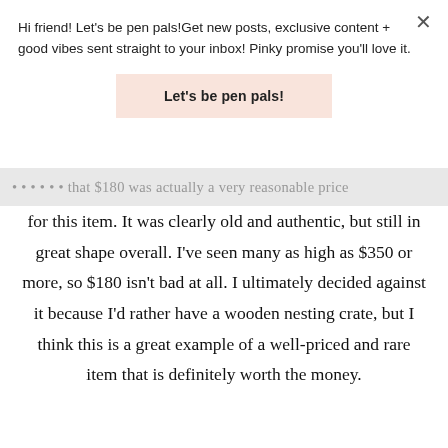Hi friend! Let's be pen pals!Get new posts, exclusive content + good vibes sent straight to your inbox! Pinky promise you'll love it.
Let's be pen pals!
...that $180 was actually a very reasonable price for this item. It was clearly old and authentic, but still in great shape overall. I've seen many as high as $350 or more, so $180 isn't bad at all. I ultimately decided against it because I'd rather have a wooden nesting crate, but I think this is a great example of a well-priced and rare item that is definitely worth the money.